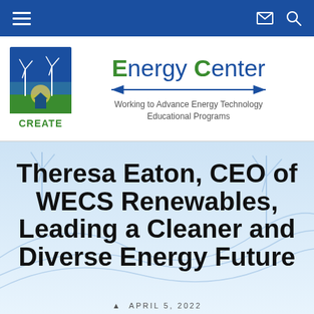Navigation bar with hamburger menu, envelope icon, and search icon
[Figure (logo): CREATE Energy Center logo with wind turbines and green landscape, blue square background, green CREATE text below]
Energy Center — Working to Advance Energy Technology Educational Programs
[Figure (illustration): Light blue hero background with abstract wave/wind turbine line art patterns]
Theresa Eaton, CEO of WECS Renewables, Leading a Cleaner and Diverse Energy Future
APRIL 5, 2022